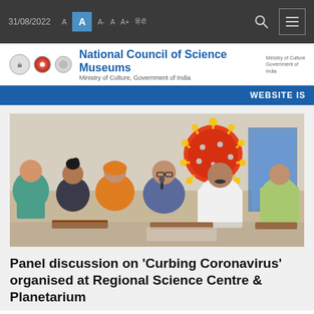31/08/2022  A  A  A-  A  A+  हिंदी
[Figure (logo): National Council of Science Museums logo with Ministry of Culture, Government of India text and emblems]
National Council of Science Museums – Ministry of Culture, Government of India – WEBSITE IS
[Figure (photo): Panel discussion event photo showing several people seated in chairs, with a large red coronavirus model prop in the background, in an indoor setting]
Panel discussion on ‘Curbing Coronavirus’ organised at Regional Science Centre & Planetarium